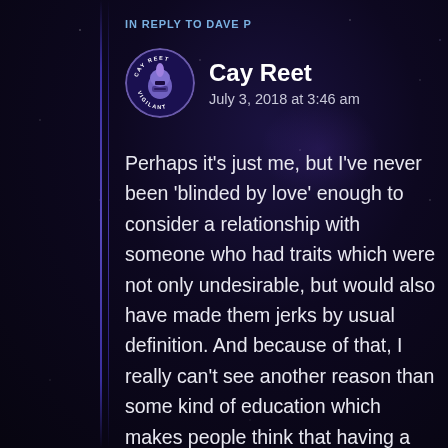IN REPLY TO DAVE P
Cay Reet
July 3, 2018 at 3:46 am
Perhaps it’s just me, but I’ve never been ‘blinded by love’ enough to consider a relationship with someone who had traits which were not only undesirable, but would also have made them jerks by usual definition. And because of that, I really can’t see another reason than some kind of education which makes people think that having a partner like that is fine or that they can change their partner and everything will be fine afterwards.